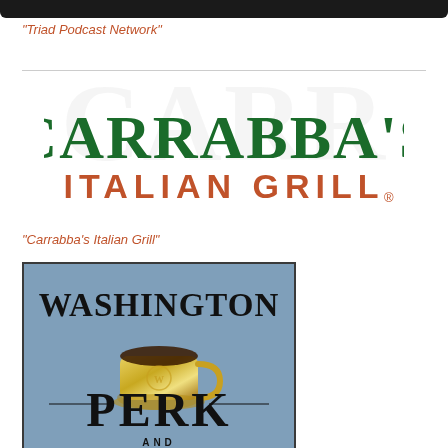"Triad Podcast Network"
[Figure (logo): Carrabba's Italian Grill logo with green block lettering for CARRABBA'S and brown/orange lettering for ITALIAN GRILL]
"Carrabba's Italian Grill"
[Figure (logo): Washington Perk logo on steel blue background with large bold black lettering WASHINGTON above a gold metallic coffee mug, and PERK below in large bold black letters, with AND at bottom]